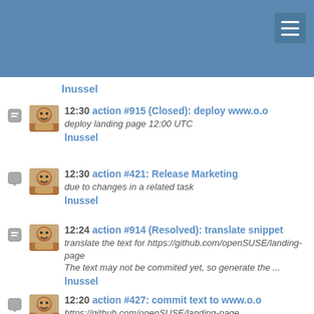lnussel
12:30 action #915 (Closed): deploy www.o.o
deploy landing page 12:00 UTC
lnussel
12:30 action #421: Release Marketing
due to changes in a related task
lnussel
12:24 action #914 (Resolved): translate snippet
translate the text for https://github.com/openSUSE/landing-page
The text may not be committed yet, so generate the ...
lnussel
12:20 action #427: commit text to www.o.o
https://github.com/openSUSE/landing-page
commit the changes to the github repo in preparation of the release
lnussel
12:07 action #913 (Closed): marketing working